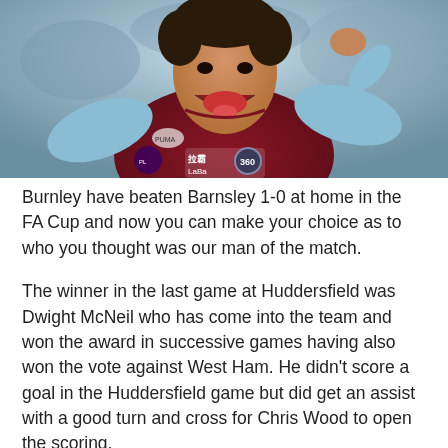[Figure (photo): A Burnley FC footballer in a claret and sky blue jersey with LaBa 360 sponsor, celebrating with mouth open and hand gesture near face]
Burnley have beaten Barnsley 1-0 at home in the FA Cup and now you can make your choice as to who you thought was our man of the match.
The winner in the last game at Huddersfield was Dwight McNeil who has come into the team and won the award in successive games having also won the vote against West Ham. He didn't score a goal in the Huddersfield game but did get an assist with a good turn and cross for Chris Wood to open the scoring.
Who will be your choice for the Barnsley game? The...